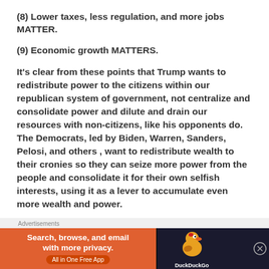(8) Lower taxes, less regulation, and more jobs MATTER.
(9) Economic growth MATTERS.
It’s clear from these points that Trump wants to redistribute power to the citizens within our republican system of government, not centralize and consolidate power and dilute and drain our resources with non-citizens, like his opponents do. The Democrats, led by Biden, Warren, Sanders, Pelosi, and others , want to redistribute wealth to their cronies so they can seize more power from the people and consolidate it for their own selfish interests, using it as a lever to accumulate even more wealth and power.
Advertisements
[Figure (other): DuckDuckGo advertisement banner: Search, browse, and email with more privacy. All in One Free App. DuckDuckGo logo on dark background.]